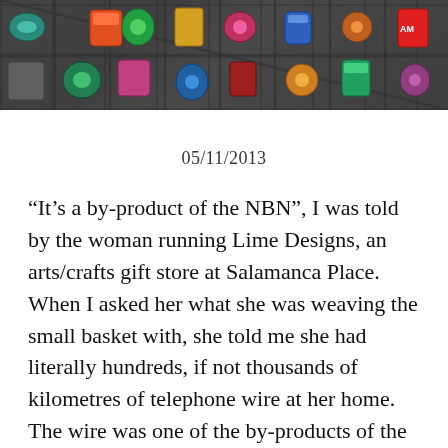[Figure (photo): Overhead view of a wooden grid tray holding colorful small items (badges, ornaments, decorated objects) in compartments, dark background]
05/11/2013
“It’s a by-product of the NBN”, I was told by the woman running Lime Designs, an arts/crafts gift store at Salamanca Place. When I asked her what she was weaving the small basket with, she told me she had literally hundreds, if not thousands of kilometres of telephone wire at her home. The wire was one of the by-products of the roll-out of the National Broadband Network. As the wire was replaced by optic fibre, it was being discarded, and she was one of